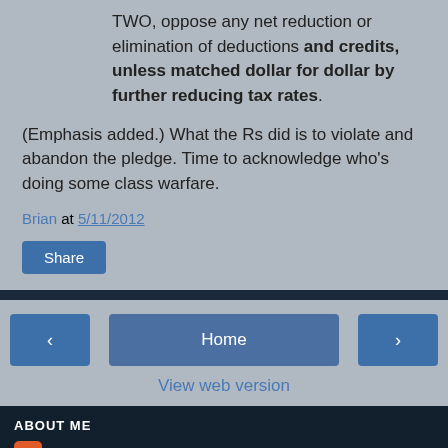TWO, oppose any net reduction or elimination of deductions and credits, unless matched dollar for dollar by further reducing tax rates.
(Emphasis added.)  What the Rs did is to violate and abandon the pledge.  Time to acknowledge who's doing some class warfare.
Brian at 5/11/2012
Share
Home
View web version
ABOUT ME
Brian
View my complete profile
Powered by Blogger.